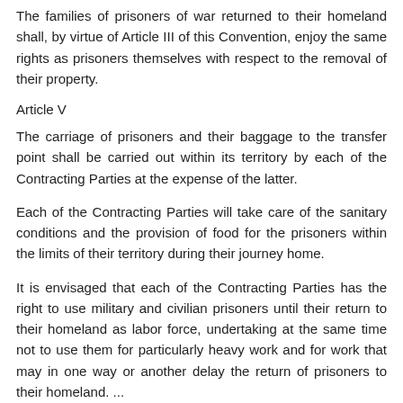The families of prisoners of war returned to their homeland shall, by virtue of Article III of this Convention, enjoy the same rights as prisoners themselves with respect to the removal of their property.
Article V
The carriage of prisoners and their baggage to the transfer point shall be carried out within its territory by each of the Contracting Parties at the expense of the latter.
Each of the Contracting Parties will take care of the sanitary conditions and the provision of food for the prisoners within the limits of their territory during their journey home.
It is envisaged that each of the Contracting Parties has the right to use military and civilian prisoners until their return to their homeland as labor force, undertaking at the same time not to use them for particularly heavy work and for work that may in one way or another delay the return of prisoners to their homeland. ...